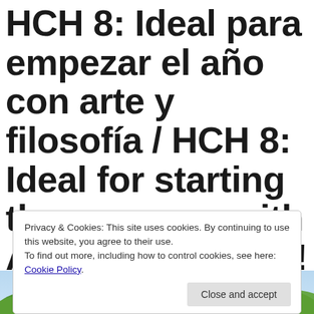HCH 8: Ideal para empezar el año con arte y filosofía / HCH 8: Ideal for starting the new year with Art & Philosophy!
Privacy & Cookies: This site uses cookies. By continuing to use this website, you agree to their use.
To find out more, including how to control cookies, see here: Cookie Policy
Close and accept
[Figure (photo): Bottom portion of an outdoor photo showing blue sky and green leaves/foliage]